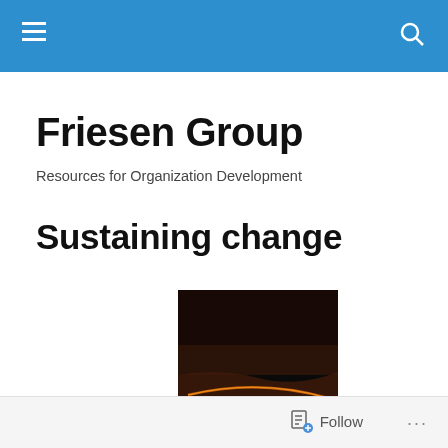Friesen Group
Resources for Organization Development
Sustaining change
[Figure (photo): Dark artistic photo showing an abstract landscape with glowing orange-red light streaks against a near-black background, resembling sand dunes or light trails.]
Follow ...